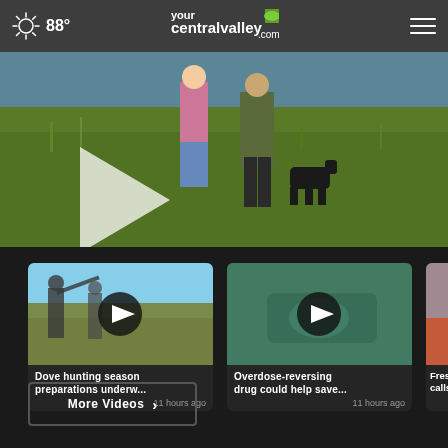88° yourcentralvalley.com
[Figure (photo): Main video thumbnail showing hunters with a dog in a green grass field, with a large play button overlay]
[Figure (photo): Video thumbnail: hunters shooting in a field - Dove hunting season preparations underw... 11 hours ago]
[Figure (photo): Video thumbnail: close-up teal/green image - Overdose-reversing drug could help save... 11 hours ago]
[Figure (photo): Video thumbnail: partial - Fresn... calls f...]
More Videos ›